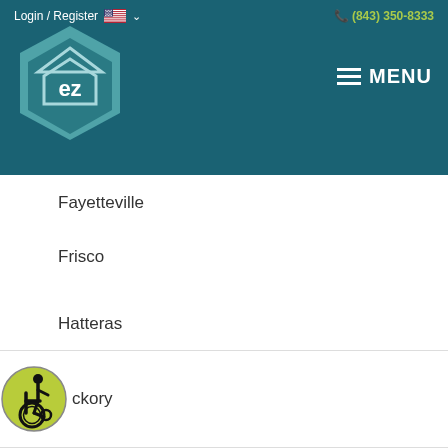Login / Register  (843) 350-8333  MENU
Fayetteville
Frisco
Gastonia
Greensboro
Greenville
Hatteras
Hickory
[Figure (illustration): Wheelchair accessibility icon — yellow-green circle with stylized wheelchair user symbol in black]